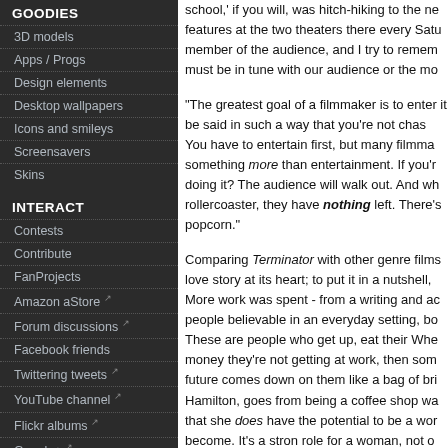GOODIES
3D models
Apps / Progs
Design elements
Desktop wallpapers
Icons and smileys
Screensavers
Skins
INTERACT
Contests
Contribute
FanProjects
Amazon aStore
Forum discussions
Facebook friends
Twittering tweets
YouTube channel
Flickr albums
Google+
LINKS
In-depth weblinks
school,' if you will, was hitch-hiking to the ne features at the two theaters there every Satu member of the audience, and I try to remem must be in tune with our audience or the mo
"The greatest goal of a filmmaker is to enter it be said in such a way that you're not chas You have to entertain first, but many filmma something more than entertainment. If you'r doing it? The audience will walk out. And wh rollercoaster, they have nothing left. There's popcorn."
Comparing Terminator with other genre films love story at its heart; to put it in a nutshell, More work was spent - from a writing and ac people believable in an everyday setting, bo These are people who get up, eat their Whe money they're not getting at work, then som future comes down on them like a bag of bri Hamilton, goes from being a coffee shop wa that she does have the potential to be a wor become. It's a stron role for a woman, not o that have been so much in evidence recently
FX & Filmmaking